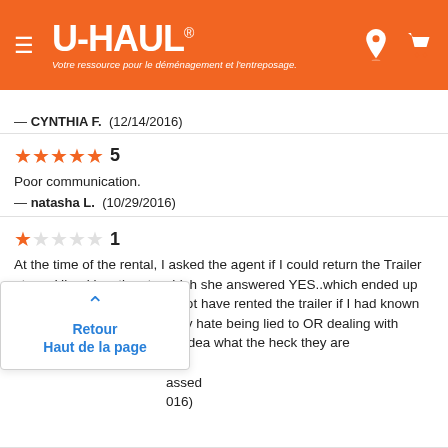[Figure (logo): U-Haul logo on orange header bar with hamburger menu, location pin icon, and cart icon. Tagline: Votre ressource pour le déménagement et l'entreposage.]
— CYNTHIA F.  (12/14/2016)
★★★★★ 5
Poor communication.
— natasha L.  (10/29/2016)
★☆☆☆☆ 1
At the time of the rental, I asked the agent if I could return the Trailer at any Uhaul location, to which she answered YES..which ended up not being the case..I would not have rented the trailer if I had known that was the case...Absolutely hate being lied to OR dealing with [employees who have] no idea what the heck they are doing...UHAul has me [very surp]assed
Retour
Haut de la page